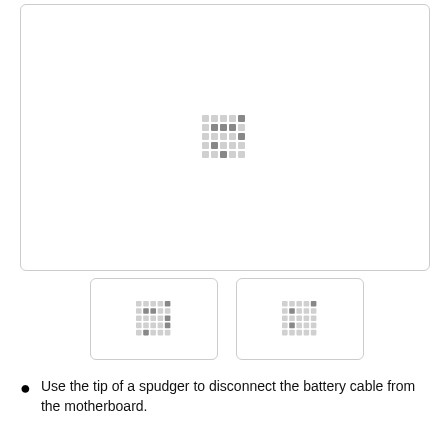[Figure (photo): Large main image placeholder showing a loading spinner (grid of dots) centered in a white bordered box, representing a step photo for a repair guide.]
[Figure (photo): Thumbnail image placeholder 1 showing a loading spinner (grid of dots) centered in a white bordered box.]
[Figure (photo): Thumbnail image placeholder 2 showing a loading spinner (grid of dots) centered in a white bordered box.]
Use the tip of a spudger to disconnect the battery cable from the motherboard.